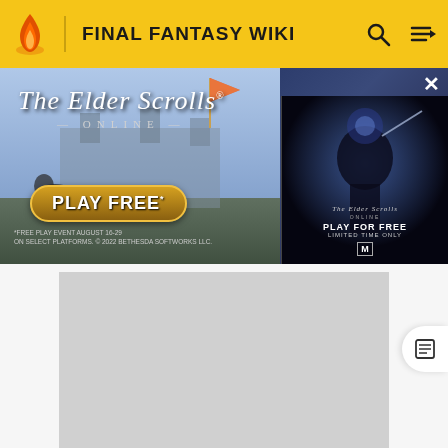FINAL FANTASY WIKI
[Figure (screenshot): The Elder Scrolls Online advertisement banner. Shows medieval battle scene with knights on horseback and a flag. Text reads 'The Elder Scrolls ONLINE — PLAY FREE* *FREE PLAY EVENT AUGUST 16-29 ON SELECT PLATFORMS. © 2022 BETHESDA SOFTWORKS LLC.' A secondary panel on the right shows a dark fantasy character with 'PLAY FOR FREE LIMITED TIME ONLY' text.]
[Figure (other): Gray placeholder advertisement rectangle below the Elder Scrolls ad.]
ADVERTISEMENT
Profile
[Figure (illustration): Partial view of a Final Fantasy character with blue/teal hair, seen from shoulders up, cropped at the bottom of the page.]